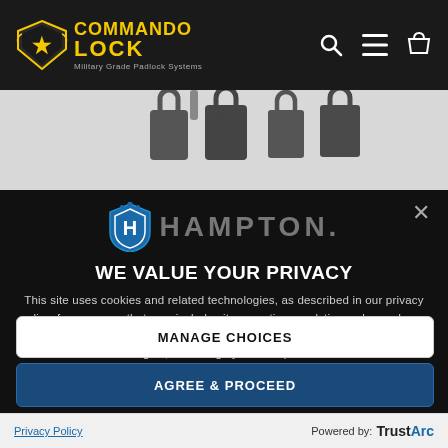[Figure (screenshot): Commando Lock website header navigation bar with logo, search, menu, and cart icons on dark background]
[Figure (photo): Product image strip showing padlocks on light gray background]
[Figure (logo): Hampton brand logo with blue shield H icon and gray HAMPTON text]
WE VALUE YOUR PRIVACY
This site uses cookies and related technologies, as described in our privacy policy, for purposes that may include site operation, analytics, enhanced user experience, or advertising. You may choose to consent to our use of these technologies, or manage your own preferences.
MANAGE CHOICES
AGREE & PROCEED
Privacy Policy    Powered by: TrustArc